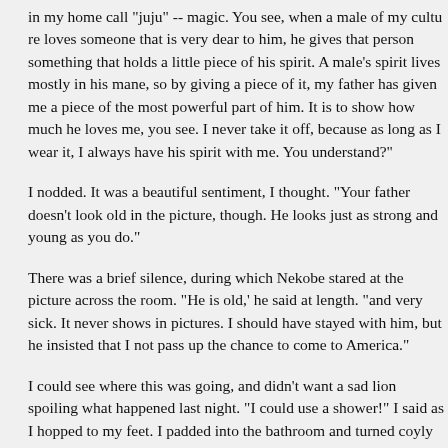in my home call "juju" -- magic. You see, when a male of my culture loves someone that is very dear to him, he gives that person something that holds a little piece of his spirit. A male's spirit lives mostly in his mane, so by giving a piece of it, my father has given me a piece of the most powerful part of him. It is to show how much he loves me, you see. I never take it off, because as long as I wear it, I always have his spirit with me. You understand?"
I nodded. It was a beautiful sentiment, I thought. "Your father doesn't look old in the picture, though. He looks just as strong and young as you do."
There was a brief silence, during which Nekobe stared at the picture across the room. "He is old,' he said at length. "and very sick. It never shows in pictures. I should have stayed with him, but he insisted that I not pass up the chance to come to America."
I could see where this was going, and didn't want a sad lion spoiling what happened last night. "I could use a shower!" I said as I hopped to my feet. I padded into the bathroom and turned coyly to glance at him over my shoulder. "Are
"No, no!" he laughed. "It is too tiny in there for me alone, let alone both of us. You go on."
Culture shock set in immediately after I turned off the water. There was no bath towel in the bathroom, only a soft-bristled brush with a wide head. He took the simplest things for granted! He didn't understand at first why I wanted his flannel shirts, and I had to explain to him. When I stepped back o